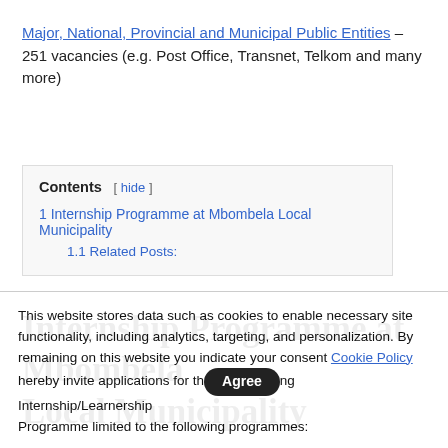Major, National, Provincial and Municipal Public Entities – 251 vacancies (e.g. Post Office, Transnet, Telkom and many more)
Contents [ hide ]
1 Internship Programme at Mbombela Local Municipality
1.1 Related Posts:
Internship Programme at Mbombela Local Municipality
This website stores data such as cookies to enable necessary site functionality, including analytics, targeting, and personalization. By remaining on this website you indicate your consent Cookie Policy
hereby invite applications for the following Internship/Learnership Programme limited to the following programmes: